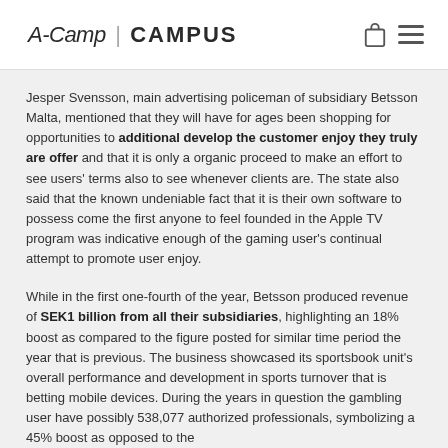A-Camp | CAMPUS
Jesper Svensson, main advertising policeman of subsidiary Betsson Malta, mentioned that they will have for ages been shopping for opportunities to additional develop the customer enjoy they truly are offer and that it is only a organic proceed to make an effort to see users' terms also to see whenever clients are. The state also said that the known undeniable fact that it is their own software to possess come the first anyone to feel founded in the Apple TV program was indicative enough of the gaming user's continual attempt to promote user enjoy.
While in the first one-fourth of the year, Betsson produced revenue of SEK1 billion from all their subsidiaries, highlighting an 18% boost as compared to the figure posted for similar time period the year that is previous. The business showcased its sportsbook unit's overall performance and development in sports turnover that is betting mobile devices. During the years in question the gambling user have possibly 538,077 authorized professionals, symbolizing a 45% boost as opposed to the